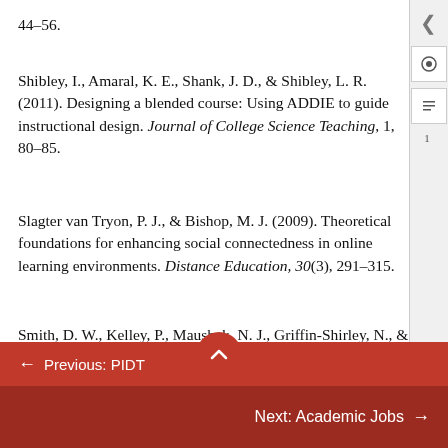44–56.
Shibley, I., Amaral, K. E., Shank, J. D., & Shibley, L. R. (2011). Designing a blended course: Using ADDIE to guide instructional design. Journal of College Science Teaching, 1, 80–85.
Slagter van Tryon, P. J., & Bishop, M. J. (2009). Theoretical foundations for enhancing social connectedness in online learning environments. Distance Education, 30(3), 291–315.
Smith, D. W., Kelley, P., Maushak, N. J., Griffin-Shirley, N., & Lan, W. Y. (2009). Assistive technology competencies for teachers of students with visual impairments. Journal of...
← Previous: PIDT
Next: Academic Jobs →